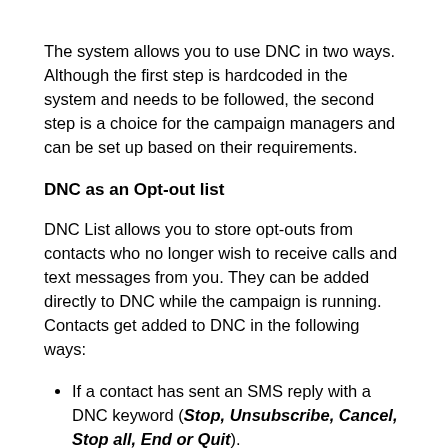The system allows you to use DNC in two ways. Although the first step is hardcoded in the system and needs to be followed, the second step is a choice for the campaign managers and can be set up based on their requirements.
DNC as an Opt-out list
DNC List allows you to store opt-outs from contacts who no longer wish to receive calls and text messages from you. They can be added directly to DNC while the campaign is running. Contacts get added to DNC in the following ways:
If a contact has sent an SMS reply with a DNC keyword (Stop, Unsubscribe, Cancel, Stop all, End or Quit).
An agent can manually move a contact to DNC by clicking the "OPT-out" button from Peer to Peer